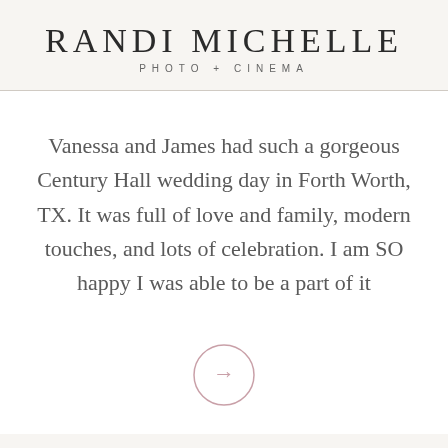RANDI MICHELLE
PHOTO + CINEMA
Vanessa and James had such a gorgeous Century Hall wedding day in Forth Worth, TX. It was full of love and family, modern touches, and lots of celebration. I am SO happy I was able to be a part of it
[Figure (illustration): A thin dusty-rose circle with a right-pointing arrow inside, serving as a navigation button]